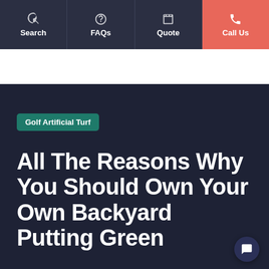Search | FAQs | Quote | Call Us
[Figure (screenshot): White banner/advertisement area below navigation bar]
Golf Artificial Turf
All The Reasons Why You Should Own Your Own Backyard Putting Green